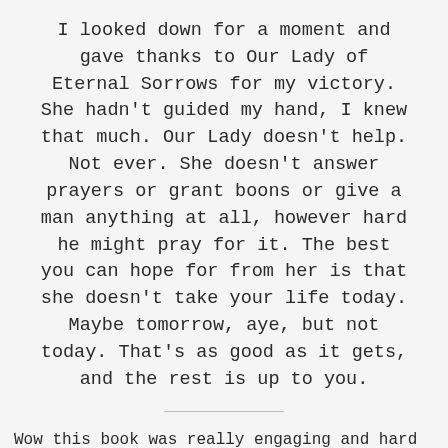I looked down for a moment and gave thanks to Our Lady of Eternal Sorrows for my victory. She hadn't guided my hand, I knew that much. Our Lady doesn't help. Not ever. She doesn't answer prayers or grant boons or give a man anything at all, however hard he might pray for it. The best you can hope for from her is that she doesn't take your life today. Maybe tomorrow, aye, but not today. That's as good as it gets, and the rest is up to you.
Wow this book was really engaging and hard to put down!
This is the story (mostly) of Tomas Piety, who is the leader of the Pious Men, a sort of crime